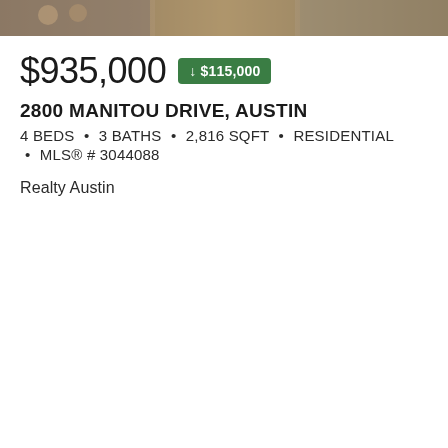[Figure (photo): Partial view of a residential property photo strip at the top of the listing]
$935,000 ↓ $115,000
2800 MANITOU DRIVE, AUSTIN
4 BEDS • 3 BATHS • 2,816 SQFT • RESIDENTIAL • MLS® # 3044088
Realty Austin